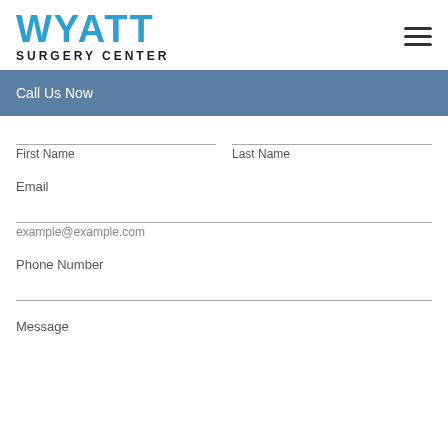[Figure (logo): Wyatt Surgery Center logo with blue WYATT text and dark SURGERY CENTER text below]
Call Us Now
First Name
Last Name
Email
example@example.com
Phone Number
Message